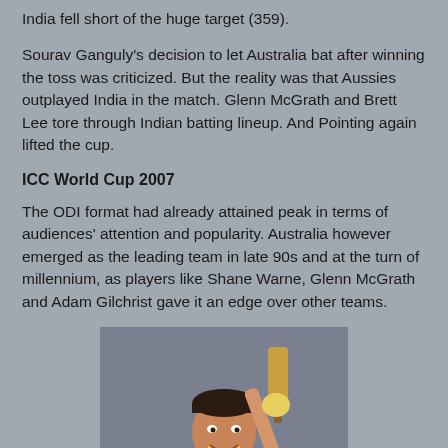India fell short of the huge target (359).
Sourav Ganguly's decision to let Australia bat after winning the toss was criticized. But the reality was that Aussies outplayed India in the match. Glenn McGrath and Brett Lee tore through Indian batting lineup. And Pointing again lifted the cup.
ICC World Cup 2007
The ODI format had already attained peak in terms of audiences' attention and popularity. Australia however emerged as the leading team in late 90s and at the turn of millennium, as players like Shane Warne, Glenn McGrath and Adam Gilchrist gave it an edge over other teams.
[Figure (photo): Cricket player in yellow Australian kit holding up a bat and smiling, possibly Adam Gilchrist celebrating]